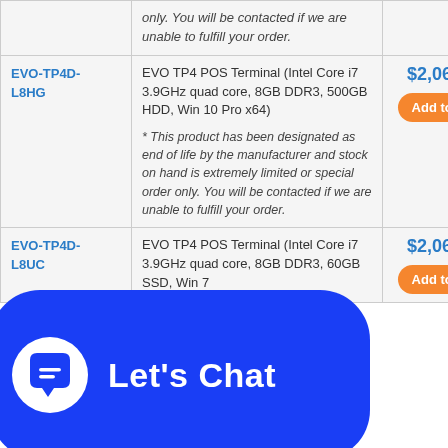| SKU | Description | Price |
| --- | --- | --- |
| (partial) | only. You will be contacted if we are unable to fulfill your order. | (partial) |
| EVO-TP4D-L8HG | EVO TP4 POS Terminal (Intel Core i7 3.9GHz quad core, 8GB DDR3, 500GB HDD, Win 10 Pro x64)
* This product has been designated as end of life by the manufacturer and stock on hand is extremely limited or special order only. You will be contacted if we are unable to fulfill your order. | $2,065.08 |
| EVO-TP4D-L8UC | EVO TP4 POS Terminal (Intel Core i7 3.9GHz quad core, 8GB DDR3, 60GB SSD, Win 7... | $2,065.08 |
[Figure (other): Blue 'Let's Chat' chat widget button overlay at the bottom of the page, with a speech bubble icon on the left and the text 'Let's Chat' in white bold font.]